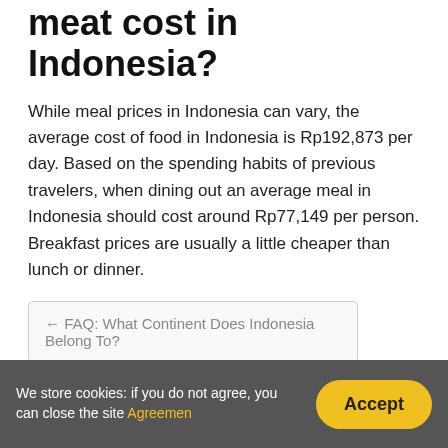meat cost in Indonesia?
While meal prices in Indonesia can vary, the average cost of food in Indonesia is Rp192,873 per day. Based on the spending habits of previous travelers, when dining out an average meal in Indonesia should cost around Rp77,149 per person. Breakfast prices are usually a little cheaper than lunch or dinner.
← FAQ: What Continent Does Indonesia Belong To?
Often asked: Where Is Sumatra In Indonesia? →
Leave a Reply
We store cookies: if you do not agree, you can close the site Agreemen